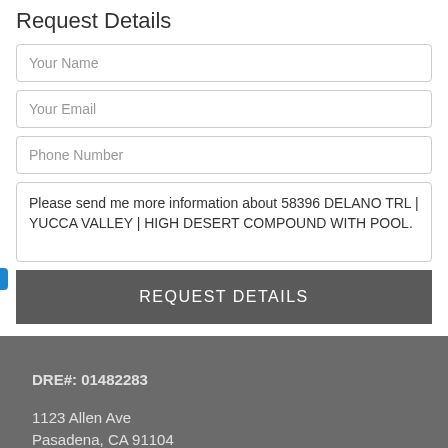Request Details
Your Name
Your Email
Phone Number
Please send me more information about 58396 DELANO TRL | YUCCA VALLEY | HIGH DESERT COMPOUND WITH POOL.
REQUEST DETAILS
DRE#: 01482283
1123 Allen Ave
Pasadena, CA 91104
Phone: 626.788.3013
Email: info@clarkliving.com